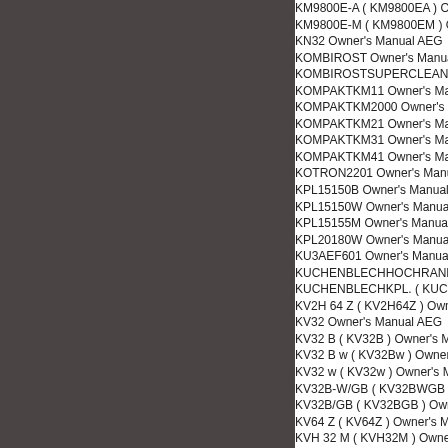KM9800E-A ( KM9800EA ) Owner's Manual AEG
KM9800E-M ( KM9800EM ) Owner's Manual AEG
KN32 Owner's Manual AEG
KOMBIROST Owner's Manual AEG
KOMBIROSTSUPERCLEAN Owner's Manual AEG
KOMPAKTKM11 Owner's Manual AEG
KOMPAKTKM2000 Owner's Manual AEG
KOMPAKTKM21 Owner's Manual AEG
KOMPAKTKM31 Owner's Manual AEG
KOMPAKTKM41 Owner's Manual AEG
KOTRON2201 Owner's Manual AEG
KPL15150B Owner's Manual AEG
KPL15150W Owner's Manual AEG
KPL15155M Owner's Manual AEG
KPL20180W Owner's Manual AEG
KU3AEF601 Owner's Manual AEG
KUCHENBLECHHOCHRAND Owner's Manual AEG
KUCHENBLECHKPL. ( KUCHENBLECHKPL ) Owner's Manual AEG
KV2H 64 Z ( KV2H64Z ) Owner's Manual AEG
KV32 Owner's Manual AEG
KV32 B ( KV32B ) Owner's Manual AEG
KV32 B w ( KV32Bw ) Owner's Manual AEG
KV32 w ( KV32w ) Owner's Manual AEG
KV32B-W/GB ( KV32BWGB ) Owner's Manual AEG
KV32B/GB ( KV32BGB ) Owner's Manual AEG
KV64 Z ( KV64Z ) Owner's Manual AEG
KVH 32 M ( KVH32M ) Owner's Manual AEG
KVH 32 w ( KVH32w ) Owner's Manual AEG
KVH64Z Owner's Manual AEG
KVS84 BZ ( KVS84BZ ) Owner's Manual AEG
KW30 Owner's Manual AEG
KW30 w ( KW30w ) Owner's Manual AEG
KWA12 Owner's Manual AEG
KWA12H Owner's Manual AEG
KWA17 Owner's Manual AEG
KWA17H Owner's Manual AEG
KWA9 Owner's Manual AEG
KWA9H Owner's Manual AEG